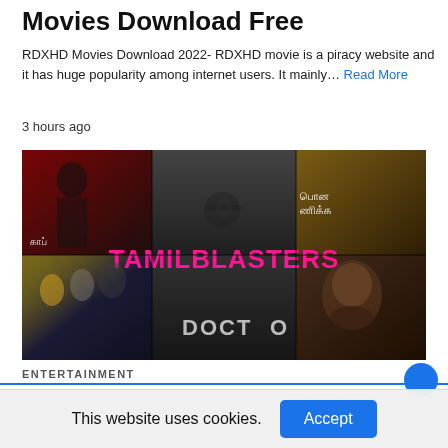Movies Download Free
RDXHD Movies Download 2022- RDXHD movie is a piracy website and it has huge popularity among internet users. It mainly… Read More
3 hours ago
[Figure (photo): Collage of movie posters with TAMILBLASTERS text overlay in pink/magenta on a dark background, featuring various Tamil and Bollywood film posters including action, drama scenes and the word DOCTOR visible at bottom center.]
ENTERTAINMENT
This website uses cookies.
Accept